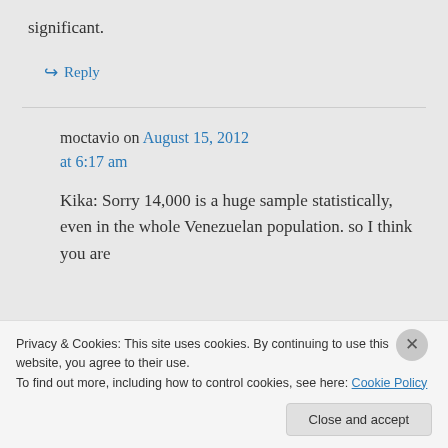significant.
↪ Reply
moctavio on August 15, 2012 at 6:17 am
Kika: Sorry 14,000 is a huge sample statistically, even in the whole Venezuelan population. so I think you are
Privacy & Cookies: This site uses cookies. By continuing to use this website, you agree to their use.
To find out more, including how to control cookies, see here: Cookie Policy
Close and accept